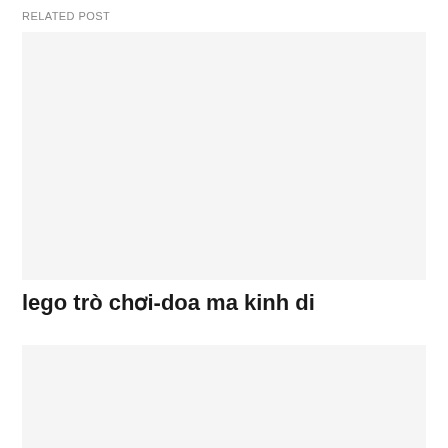RELATED POST
[Figure (photo): Placeholder image box, light gray background]
lego trò chơi-doa ma kinh di
[Figure (photo): Placeholder image box, light gray background]